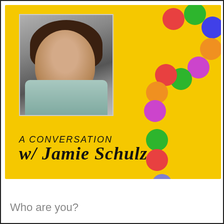[Figure (photo): Yellow promotional card featuring a black-and-white portrait photo of a woman with curly brown hair and a blue-green top, overlaid on a yellow background. On the right side, colorful circular discs are arranged in a question mark shape. Text reads 'A CONVERSATION w/ Jamie Schulz'.]
Who are you?